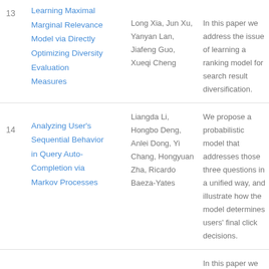| # | Title | Authors | Abstract |
| --- | --- | --- | --- |
| 13 | Learning Maximal Marginal Relevance Model via Directly Optimizing Diversity Evaluation Measures | Long Xia, Jun Xu, Yanyan Lan, Jiafeng Guo, Xueqi Cheng | In this paper we address the issue of learning a ranking model for search result diversification. |
| 14 | Analyzing User's Sequential Behavior in Query Auto-Completion via Markov Processes | Liangda Li, Hongbo Deng, Anlei Dong, Yi Chang, Hongyuan Zha, Ricardo Baeza-Yates | We propose a probabilistic model that addresses those three questions in a unified way, and illustrate how the model determines users' final click decisions. |
|  | Learning by |  | In this paper we investigate to what extent it is possible to aid |